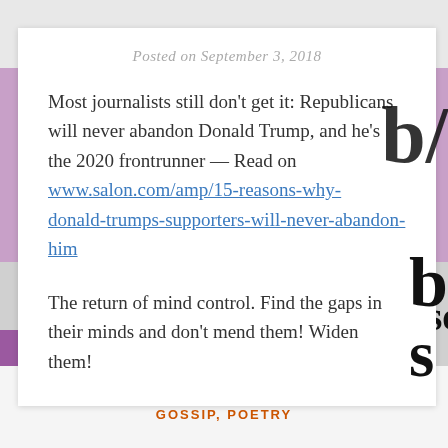Posted on September 3, 2018
Most journalists still don't get it: Republicans will never abandon Donald Trump, and he's the 2020 frontrunner — Read on www.salon.com/amp/15-reasons-why-donald-trumps-supporters-will-never-abandon-him
The return of mind control. Find the gaps in their minds and don't mend them! Widen them!
to discern
GOSSIP, POETRY